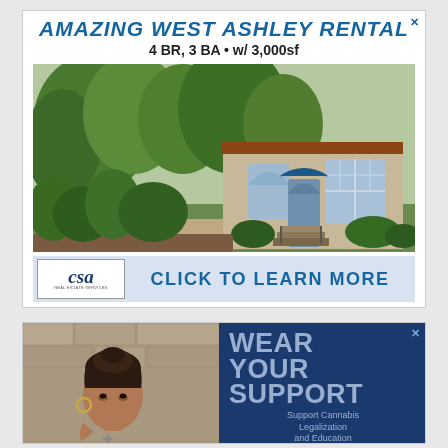[Figure (photo): Real estate advertisement banner: 'AMAZING WEST ASHLEY RENTAL, 4 BR, 3 BA • w/ 3,000sf' with photo of a stucco house surrounded by lush trees, and a CSA Real Estate logo with 'CLICK TO LEARN MORE' call to action.]
[Figure (photo): Cannabis advocacy advertisement showing a young woman in a black t-shirt on the left and dark blue panel on the right with text 'WEAR YOUR SUPPORT, Support Cannabis Legalization and Education, CLICK TO VIEW']